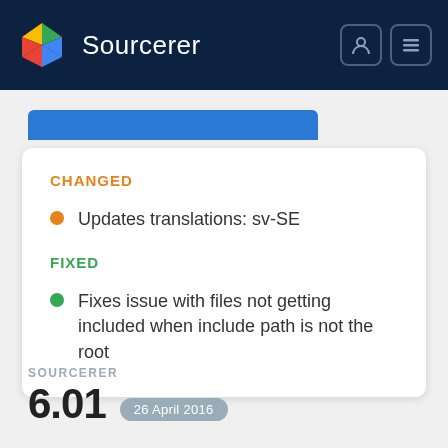Sourcerer
CHANGED
Updates translations: sv-SE
FIXED
Fixes issue with files not getting included when include path is not the root
SOURCERER
6.01   26 April 2016